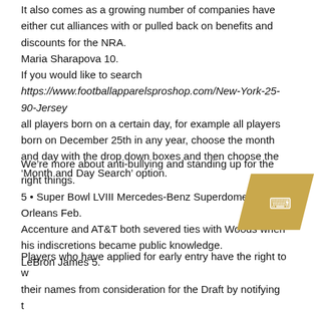It also comes as a growing number of companies have either cut alliances with or pulled back on benefits and discounts for the NRA. Maria Sharapova 10.
If you would like to search
https://www.footballapparelsproshop.com/New-York-25-90-Jersey
all players born on a certain day, for example all players born on December 25th in any year, choose the month and day with the drop down boxes and then choose the ‘Month and Day Search’ option.
We’re more about anti-bullying and standing up for the right things.
5 • Super Bowl LVIII Mercedes-Benz Superdome New Orleans Feb.
Accenture and AT&T both severed ties with Woods when his indiscretions became public knowledge.
LeBron James 5.
Players who have applied for early entry have the right to withdraw their names from consideration for the Draft by notifying the of their decision in writing ten days prior to the 2020 NBA Draft.
7 CBS • Super Bowl LVI SoFi Stadium Los Angeles Feb.
Tristan Wires T Iowa Tampa Bay Buccaneers 14.